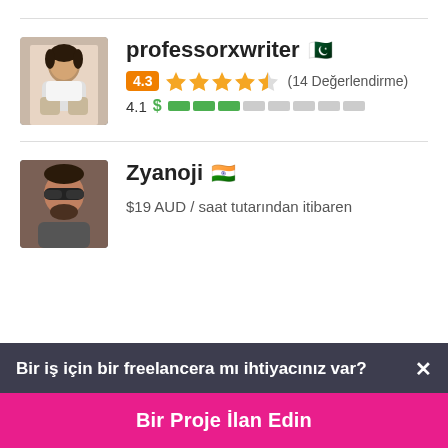[Figure (photo): Profile photo of professorxwriter, a man sitting in a chair]
professorxwriter 🇵🇰
4.3 ★★★★½ (14 Değerlendirme)
4.1 $ ████░░░░░░
[Figure (photo): Profile photo of Zyanoji, a man with sunglasses and beard]
Zyanoji 🇮🇳
$19 AUD / saat tutarından itibaren
Bir iş için bir freelancera mı ihtiyacınız var? ×
Bir Proje İlan Edin